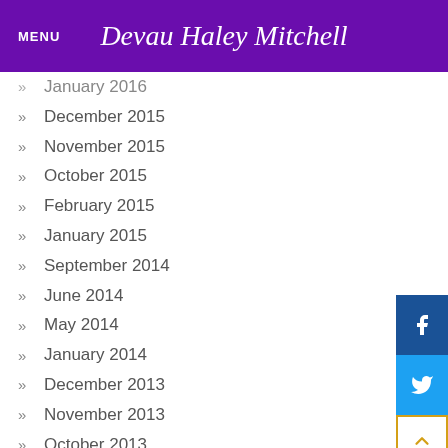MENU | Devau Haley Mitchell
January 2016
December 2015
November 2015
October 2015
February 2015
January 2015
September 2014
June 2014
May 2014
January 2014
December 2013
November 2013
October 2013
September 2013
April 2013
February 2013